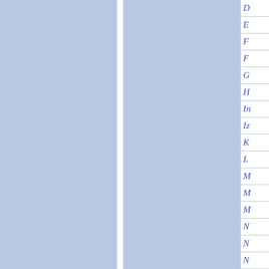[Figure (other): Two large light blue rectangular panels side by side with a white vertical divider between them, forming the main background of the page.]
D
E
F
F
G
H
In
Iz
K
L
M
M
M
N
N
N